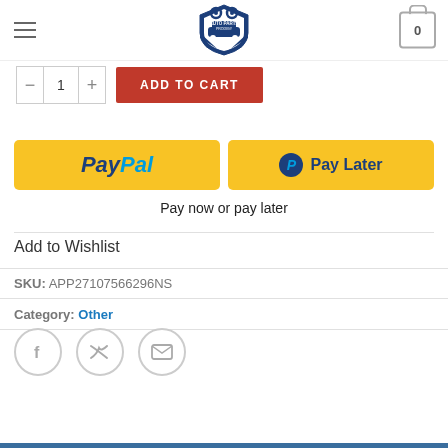Auto Parts Prodigy - navigation header with hamburger menu, logo, and cart icon showing 0 items
[Figure (screenshot): Add to Cart button area with quantity selector showing 1 and orange ADD TO CART button]
[Figure (infographic): PayPal and Pay Later payment buttons in yellow]
Pay now or pay later
Add to Wishlist
SKU: APP27107566296NS
Category: Other
[Figure (infographic): Social sharing icons: Facebook, Twitter, Email]